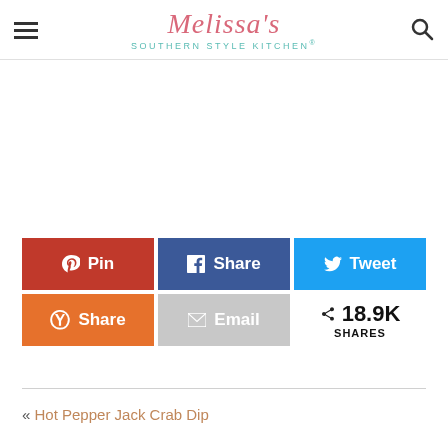Melissa's Southern Style Kitchen®
[Figure (screenshot): White blank content area]
Pin | Share | Tweet | Share | Email | 18.9K SHARES
« Hot Pepper Jack Crab Dip